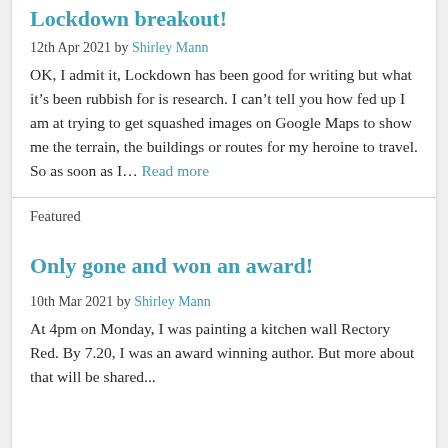Lockdown breakout!
12th Apr 2021 by Shirley Mann
OK, I admit it, Lockdown has been good for writing but what it's been rubbish for is research. I can't tell you how fed up I am at trying to get squashed images on Google Maps to show me the terrain, the buildings or routes for my heroine to travel. So as soon as I… Read more
Featured
Only gone and won an award!
10th Mar 2021 by Shirley Mann
At 4pm on Monday, I was painting a kitchen wall Rectory Red. By 7.20, I was an award winning author. But more about that will be shared...